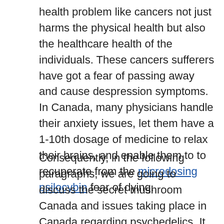health problem like cancers not just harms the physical health but also the healthcare health of the individuals. These cancers sufferers have got a fear of passing away and cause despression symptoms. In Canada, many physicians handle their anxiety issues, let them have a 1-10th dosage of medicine to relax their brains, and enable them to to recuperate from the microdosing psilocybin fear of dying.
Consequently, in the following paragraphs, we are going to discuss the secret mushroom Canada and issues taking place in Canada regarding psychedelics. It can be typical in Canada.Magic|Miracle|Wonder|Secret} Mushroom